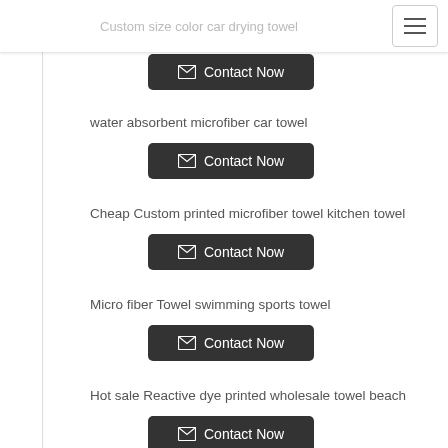Custom size color car drying towel
water absorbent microfiber car towel
Cheap Custom printed microfiber towel kitchen towel
Micro fiber Towel swimming sports towel
Hot sale Reactive dye printed wholesale towel beach